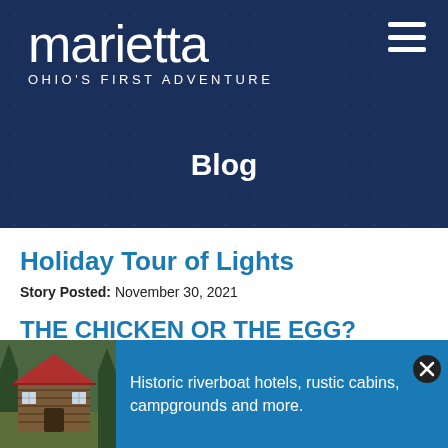marietta OHIO'S FIRST ADVENTURE
Blog
Holiday Tour of Lights
Story Posted: November 30, 2021
THE CHICKEN OR THE EGG?
Story P
[Figure (photo): Log cabin with red roof]
Historic riverboat hotels, rustic cabins, campgrounds and more.